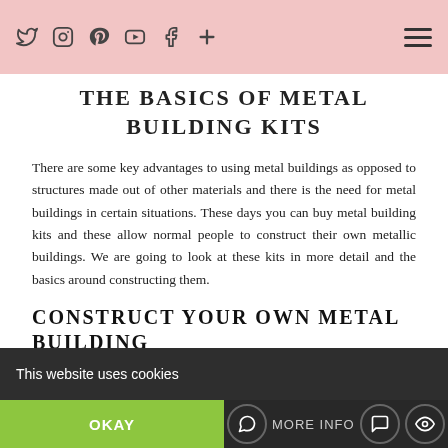Social media icons navigation bar with hamburger menu
THE BASICS OF METAL BUILDING KITS
There are some key advantages to using metal buildings as opposed to structures made out of other materials and there is the need for metal buildings in certain situations. These days you can buy metal building kits and these allow normal people to construct their own metallic buildings. We are going to look at these kits in more detail and the basics around constructing them.
CONSTRUCT YOUR OWN METAL BUILDING
A lot of suppliers, one example being Armstrong Steel, will manufacture kits that are made from fully galvanised steel and the idea is that these
This website uses cookies | OKAY | MORE INFO